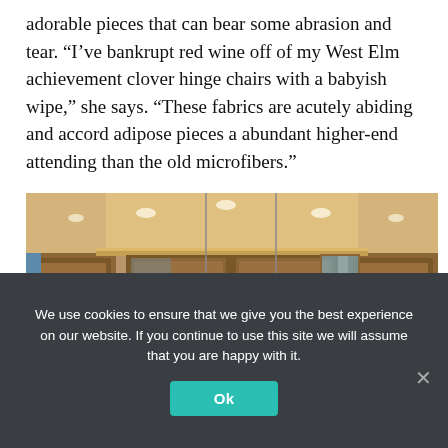adorable pieces that can bear some abrasion and tear. “I’ve bankrupt red wine off of my West Elm achievement clover hinge chairs with a babyish wipe,” she says. “These fabrics are acutely abiding and accord adipose pieces a abundant higher-end attending than the old microfibers.”
[Figure (photo): Interior photo of a kitchen with wood cabinetry, pendant lights hanging from the ceiling, recessed lighting, and a clock on the wall. The kitchen features warm-toned wooden cabinets and a tray ceiling.]
We use cookies to ensure that we give you the best experience on our website. If you continue to use this site we will assume that you are happy with it.